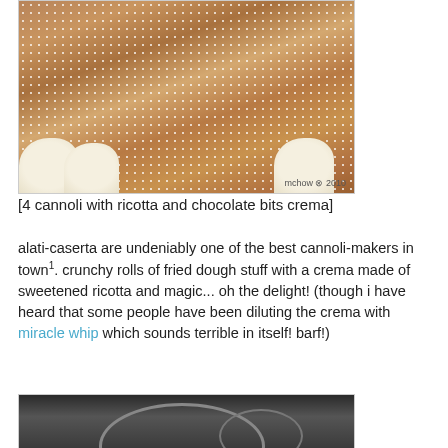[Figure (photo): Four cannoli with ricotta and chocolate bits crema, dusted with powdered sugar, arranged on a gray surface. Photo credit: mchow 2010.]
[4 cannoli with ricotta and chocolate bits crema]
alati-caserta are undeniably one of the best cannoli-makers in town1. crunchy rolls of fried dough stuff with a crema made of sweetened ricotta and magic... oh the delight! (though i have heard that some people have been diluting the crema with miracle whip which sounds terrible in itself! barf!)
[Figure (photo): Partial view of a second image, appears to show a sculptural or architectural form on a dark background.]